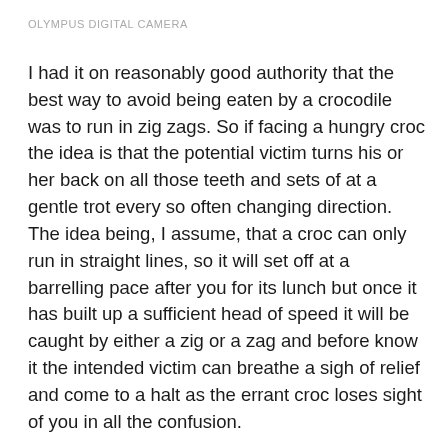OLYMPUS DIGITAL CAMERA
I had it on reasonably good authority that the best way to avoid being eaten by a crocodile was to run in zig zags. So if facing a hungry croc the idea is that the potential victim turns his or her back on all those teeth and sets of at a gentle trot every so often changing direction. The idea being, I assume, that a croc can only run in straight lines, so it will set off at a barrelling pace after you for its lunch but once it has built up a sufficient head of speed it will be caught by either a zig or a zag and before know it the intended victim can breathe a sigh of relief and come to a halt as the errant croc loses sight of you in all the confusion.
I had cause to have a go trying this out whilst walking along the banks last Croc Tribulation.